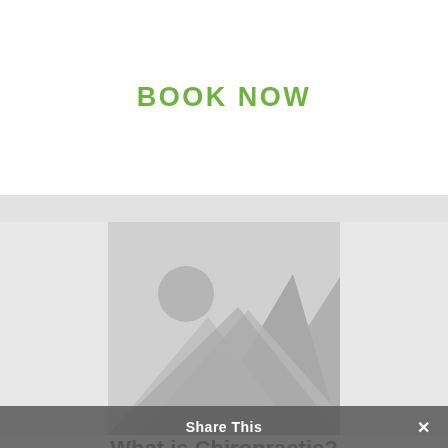BOOK NOW
[Figure (photo): Image placeholder with mountain/landscape icon in gray tones]
What is Chiropractic?
We specialise in dealing with the nerves, joints, muscles and bones of the body
Share This